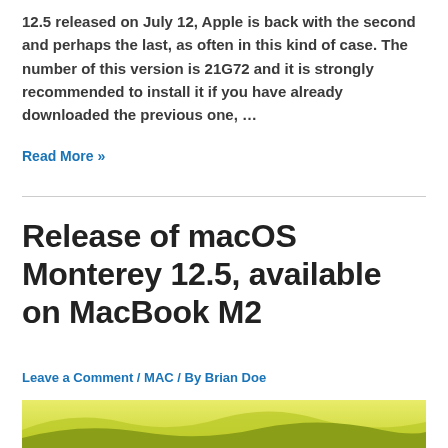12.5 released on July 12, Apple is back with the second and perhaps the last, as often in this kind of case. The number of this version is 21G72 and it is strongly recommended to install it if you have already downloaded the previous one, …
Read More »
Release of macOS Monterey 12.5, available on MacBook M2
Leave a Comment / MAC / By Brian Doe
[Figure (photo): Partial view of macOS Monterey wallpaper showing yellow-green hills landscape]